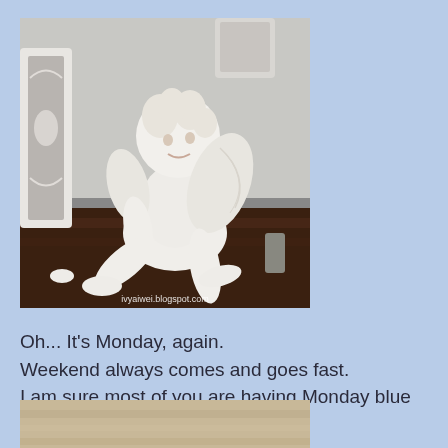[Figure (photo): A white cherub/angel figurine sitting on a dark wooden surface with a decorative white frame visible in the background. Watermark reads 'ivyaiwei.blogspot.com']
Oh... It's Monday, again.
Weekend always comes and goes fast.
I am sure most of you are having Monday blue now...
[Figure (photo): Partial view of a second photo with beige/tan tones, partially cut off at the bottom of the page]